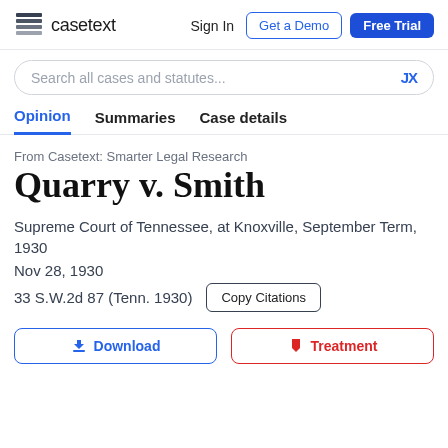casetext | Sign In | Get a Demo | Free Trial
Search all cases and statutes...
Opinion | Summaries | Case details
From Casetext: Smarter Legal Research
Quarry v. Smith
Supreme Court of Tennessee, at Knoxville, September Term, 1930
Nov 28, 1930
33 S.W.2d 87 (Tenn. 1930)
Download | Treatment